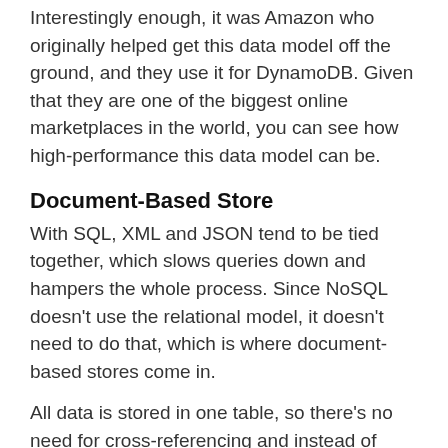Interestingly enough, it was Amazon who originally helped get this data model off the ground, and they use it for DynamoDB. Given that they are one of the biggest online marketplaces in the world, you can see how high-performance this data model can be.
Document-Based Store
With SQL, XML and JSON tend to be tied together, which slows queries down and hampers the whole process. Since NoSQL doesn't use the relational model, it doesn't need to do that, which is where document-based stores come in.
All data is stored in one table, so there's no need for cross-referencing and instead of storing information in a table, it's stored in a document. While this is very similar to a key-value store, and can sometimes be considered under its umbrella, the difference is that the document is in SQL, or similar.